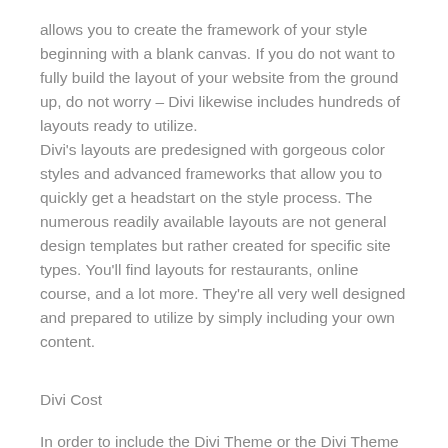allows you to create the framework of your style beginning with a blank canvas. If you do not want to fully build the layout of your website from the ground up, do not worry – Divi likewise includes hundreds of layouts ready to utilize.
Divi's layouts are predesigned with gorgeous color styles and advanced frameworks that allow you to quickly get a headstart on the style process. The numerous readily available layouts are not general design templates but rather created for specific site types. You'll find layouts for restaurants, online course, and a lot more. They're all very well designed and prepared to utilize by simply including your own content.
Divi Cost
In order to include the Divi Theme or the Divi Theme Builder to your wordpress website you'll require a membership with Elegant Themes. Like numerous